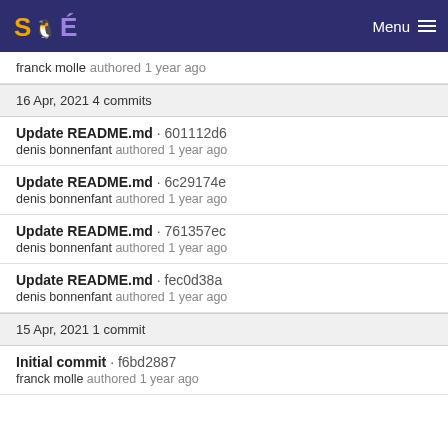SAÉ Menu
franck molle authored 1 year ago
16 Apr, 2021 4 commits
Update README.md · 601112d6
denis bonnenfant authored 1 year ago
Update README.md · 6c29174e
denis bonnenfant authored 1 year ago
Update README.md · 761357ec
dens bonnenfant authored 1 year ago
Update README.md · fec0d38a
denis bonnenfant authored 1 year ago
15 Apr, 2021 1 commit
Initial commit · f6bd2887
franck molle authored 1 year ago